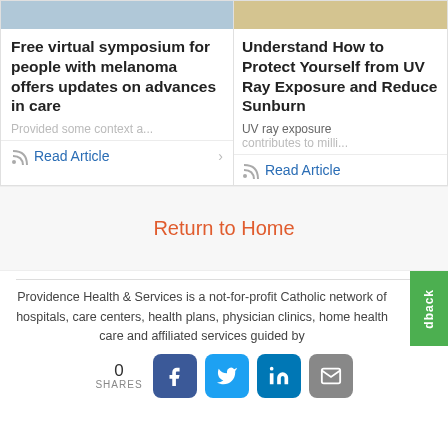[Figure (photo): Partial photo of person at top of left card (cropped)]
Free virtual symposium for people with melanoma offers updates on advances in care
Read Article (left card)
[Figure (photo): Partial photo of person at top of right card (cropped)]
Understand How to Protect Yourself from UV Ray Exposure and Reduce Sunburn
UV ray exposure contributes to milli…
Read Article (right card)
Return to Home
Providence Health & Services is a not-for-profit Catholic network of hospitals, care centers, health plans, physician clinics, home health care and affiliated services guided by
0 SHARES